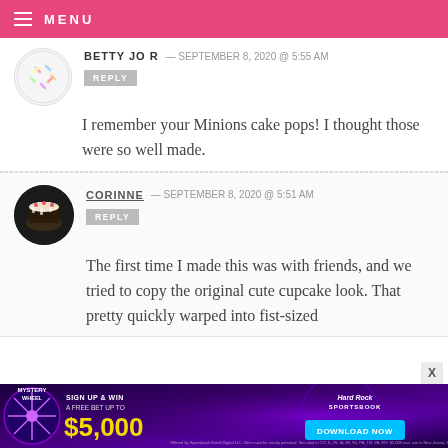MENU
BETTY JO R — SEPTEMBER 8, 2020 @ 5:55 AM
REPLY
I remember your Minions cake pops! I thought those were so well made.
CORINNE — SEPTEMBER 8, 2020 @ 5:51 AM
REPLY
The first time I made this was with friends, and we tried to copy the original cute cupcake look. That pretty quickly warped into fist-sized
[Figure (infographic): Advertisement banner for Hard Rock Sportsbook Mystery Wheel promotion, sign up and win a free bet up to $5,000, Download Now button]